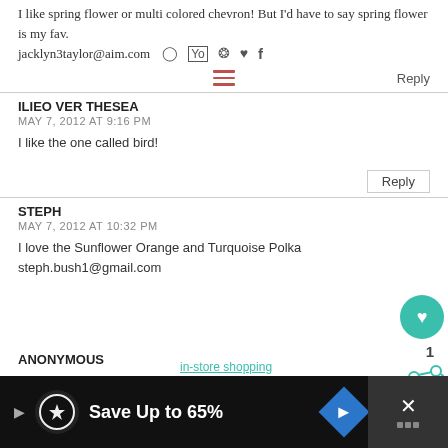I like spring flower or multi colored chevron! But I'd have to say spring flower is my fav.
jacklyn3taylor@aim.com
Reply
ILIEO VER THESEA
MAY 7, 2012 AT 9:16 PM
I like the one called bird!
Reply
STEPH
MAY 7, 2012 AT 10:32 PM
I love the Sunflower Orange and Turquoise Polka steph.bush1@gmail.com
ANONYMOUS